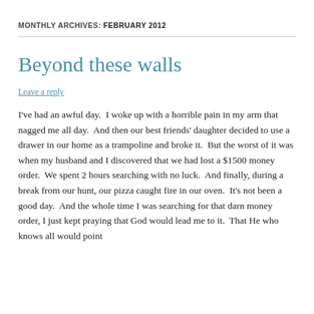MONTHLY ARCHIVES: FEBRUARY 2012
Beyond these walls
Leave a reply
I've had an awful day.  I woke up with a horrible pain in my arm that nagged me all day.  And then our best friends' daughter decided to use a drawer in our home as a trampoline and broke it.  But the worst of it was when my husband and I discovered that we had lost a $1500 money order.  We spent 2 hours searching with no luck.  And finally, during a break from our hunt, our pizza caught fire in our oven.  It's not been a good day.  And the whole time I was searching for that darn money order, I just kept praying that God would lead me to it.  That He who knows all would point